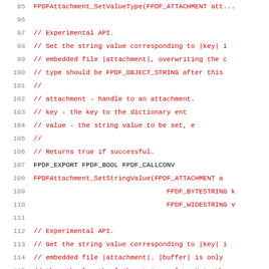95  FPDFAttachment_SetValueType(FPDF_ATTACHMENT att...
96
97  // Experimental API.
98  // Set the string value corresponding to |key| i...
99  // embedded file |attachment|, overwriting the c...
100 // type should be FPDF_OBJECT_STRING after this...
101 //
102 //   attachment - handle to an attachment.
103 //   key        - the key to the dictionary ent...
104 //   value      - the string value to be set, e...
105 //
106 // Returns true if successful.
107 FPDF_EXPORT FPDF_BOOL FPDF_CALLCONV
108 FPDFAttachment_SetStringValue(FPDF_ATTACHMENT a...
109                                FPDF_BYTESTRING k...
110                                FPDF_WIDESTRING v...
111
112 // Experimental API.
113 // Get the string value corresponding to |key| i...
114 // embedded file |attachment|. |buffer| is only...
115 // than the length of the string value. Note tha...
116 // dictionary or if |key|'s corresponding value...